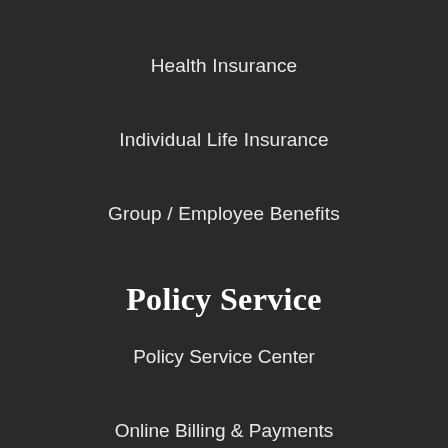Health Insurance
Individual Life Insurance
Group / Employee Benefits
Policy Service
Policy Service Center
Online Billing & Payments